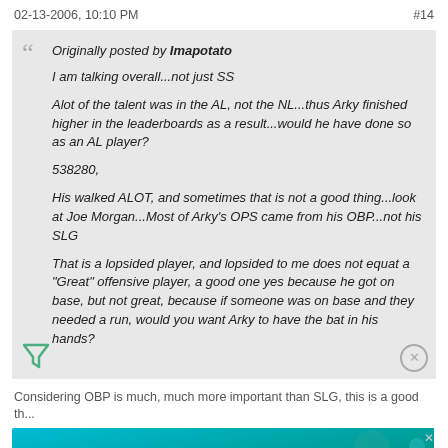02-13-2006, 10:10 PM   #14
Originally posted by Imapotato
I am talking overall...not just SS

Alot of the talent was in the AL, not the NL...thus Arky finished higher in the leaderboards as a result...would he have done so as an AL player?

538280,

His walked ALOT, and sometimes that is not a good thing...look at Joe Morgan...Most of Arky's OPS came from his OBP...not his SLG

That is a lopsided player, and lopsided to me does not equat a "Great" offensive player, a good one yes because he got on base, but not great, because if someone was on base and they needed a run, would you want Arky to have the bat in his hands?
Considering OBP is much, much more important than SLG, this is a good th...
[Figure (other): HEADERBIDDING.COM advertisement banner - Your source for all things programmatic advertising.]
Now it... The art of fiction is dead. Reality has strangled invention. Only the